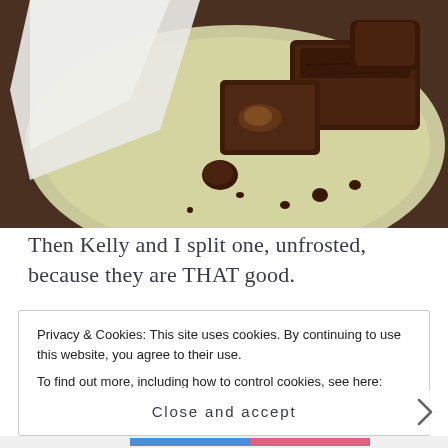[Figure (photo): Chocolate brownies broken into pieces on a light green/cream plate, with crumbs scattered around. A white napkin or paper bag is tucked behind the plate in the upper left.]
Then Kelly and I split one, unfrosted, because they are THAT good.
Privacy & Cookies: This site uses cookies. By continuing to use this website, you agree to their use.
To find out more, including how to control cookies, see here: Cookie Policy
Close and accept